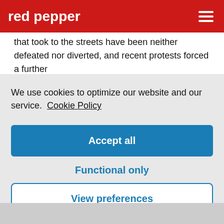red pepper
that took to the streets have been neither defeated nor diverted, and recent protests forced a further
We use cookies to optimize our website and our service. Cookie Policy
Accept all
Functional only
View preferences